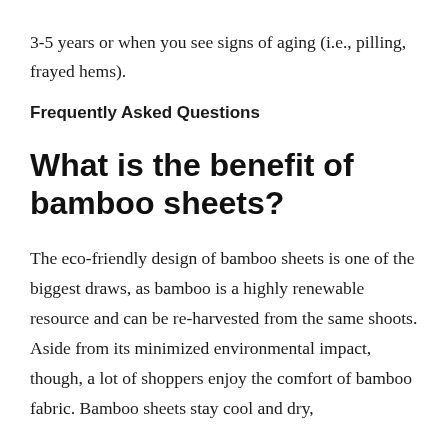3-5 years or when you see signs of aging (i.e., pilling, frayed hems).
Frequently Asked Questions
What is the benefit of bamboo sheets?
The eco-friendly design of bamboo sheets is one of the biggest draws, as bamboo is a highly renewable resource and can be re-harvested from the same shoots. Aside from its minimized environmental impact, though, a lot of shoppers enjoy the comfort of bamboo fabric. Bamboo sheets stay cool and dry,